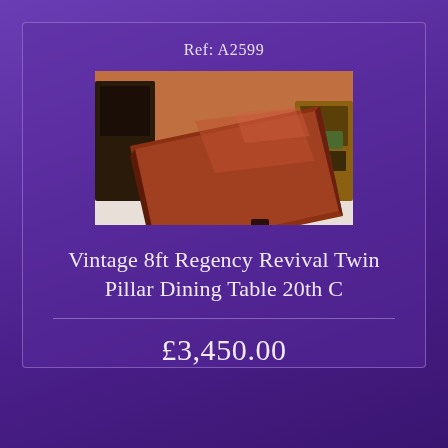Ref: A2599
[Figure (photo): Photograph of a vintage mahogany 8ft Regency Revival twin pillar dining table with sabre legs and brass casters, shown in a room with orange walls]
Vintage 8ft Regency Revival Twin Pillar Dining Table 20th C
£3,450.00